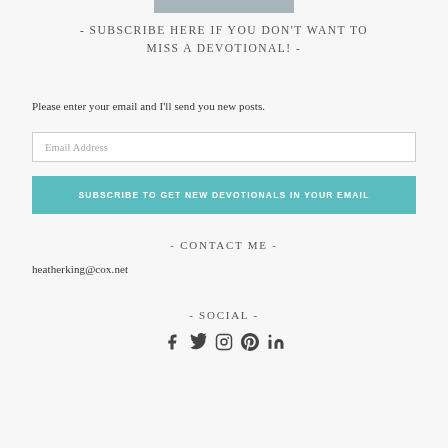[Figure (photo): Partial photo at the top of the page]
- SUBSCRIBE HERE IF YOU DON'T WANT TO MISS A DEVOTIONAL! -
Please enter your email and I'll send you new posts.
Email Address
SUBSCRIBE TO GET NEW DEVOTIONALS IN YOUR EMAIL
- CONTACT ME -
heatherking@cox.net
- SOCIAL -
[Figure (infographic): Social media icons: Facebook, Twitter, Instagram, Pinterest, LinkedIn]